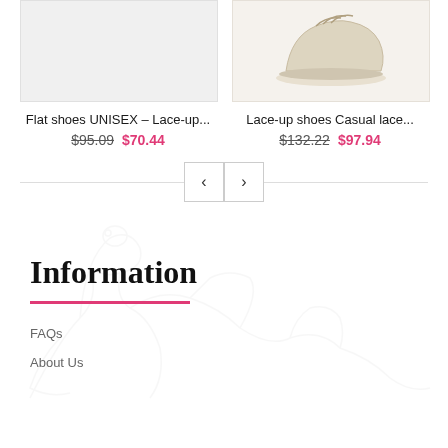[Figure (photo): Light grey/white empty product image placeholder]
[Figure (photo): Beige/cream lace-up casual shoes on light background]
Flat shoes UNISEX – Lace-up...
$95.09  $70.44
Lace-up shoes Casual lace...
$132.22  $97.94
[Figure (other): Navigation left/right arrow buttons with horizontal line]
[Figure (illustration): Faint decorative dinosaur/animal watermark illustration in background]
Information
FAQs
About Us